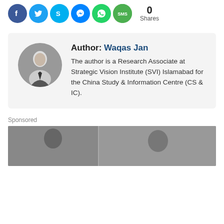[Figure (other): Social media sharing icons (Facebook, Twitter, Skype, Messenger, WhatsApp, SMS) with share count showing 0 Shares]
Author: Waqas Jan
The author is a Research Associate at Strategic Vision Institute (SVI) Islamabad for the China Study & Information Centre (CS & IC).
Sponsored
[Figure (photo): A sponsored photo showing people in a room]